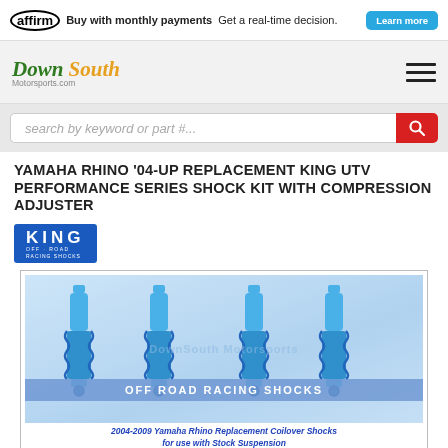Buy with monthly payments  Get a real-time decision.  Learn more
[Figure (logo): Down South Motorsports.com logo with hamburger menu icon]
[Figure (screenshot): Search bar with placeholder text 'search by keyword or part #...' and red search button]
YAMAHA RHINO '04-UP REPLACEMENT KING UTV PERFORMANCE SERIES SHOCK KIT WITH COMPRESSION ADJUSTER
[Figure (logo): King Off Road Racing Shocks logo in blue]
[Figure (photo): Four blue King coilover shocks for 2004-2009 Yamaha Rhino replacement, with watermark and off road racing shocks banner]
2004-2009 Yamaha Rhino Replacement Coilover Shocks for use with Stock Suspension